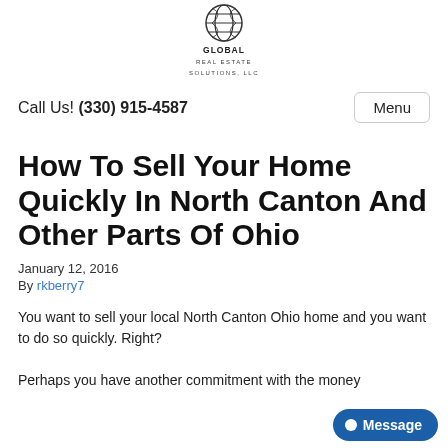[Figure (logo): Global Real Estate Solutions LLC logo with globe icon and company name]
Call Us! (330) 915-4587
Menu
How To Sell Your Home Quickly In North Canton And Other Parts Of Ohio
January 12, 2016
By rkberry7
You want to sell your local North Canton Ohio home and you want to do so quickly. Right?
Perhaps you have another commitment with the money